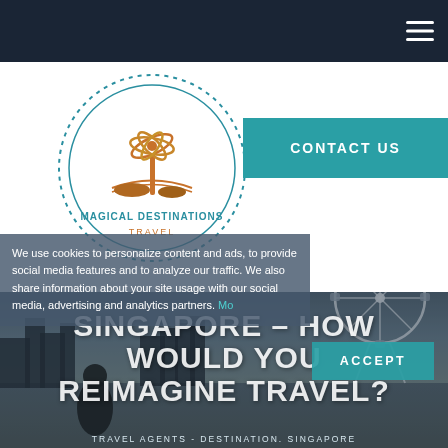[Figure (logo): Magical Destinations Travel circular logo with palm tree and sun illustration in orange, teal circle border with dots]
CONTACT US
[Figure (photo): Background photo of Singapore cityscape with Ferris wheel (Singapore Flyer) and city skyline at dusk, dark overlay]
We use cookies to personalize content and ads, to provide social media features and to analyze our traffic. We also share information about your site usage with our social media, advertising and analytics partners. More
ACCEPT
SINGAPORE – HOW WOULD YOU REIMAGINE TRAVEL?
TRAVEL AGENTS - DESTINATION. SINGAPORE